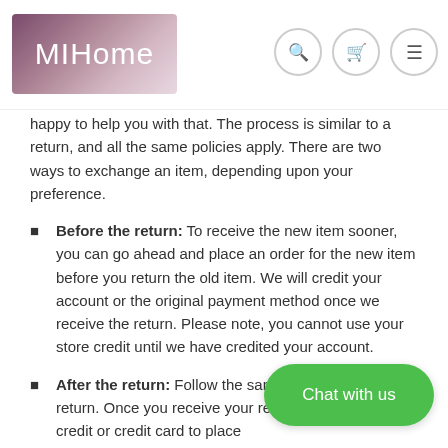[Figure (logo): MIHome logo - purple/pink gradient rectangular banner with white text reading 'MIHome']
happy to help you with that. The process is similar to a return, and all the same policies apply. There are two ways to exchange an item, depending upon your preference.
Before the return: To receive the new item sooner, you can go ahead and place an order for the new item before you return the old item. We will credit your account or the original payment method once we receive the return. Please note, you cannot use your store credit until we have credited your account.
After the return: Follow the same steps as a regular return. Once you receive your refund, use your store credit or credit card to place…
Return shipping costs still apply for all exchanges and will automatically be deducted from the refund amount.